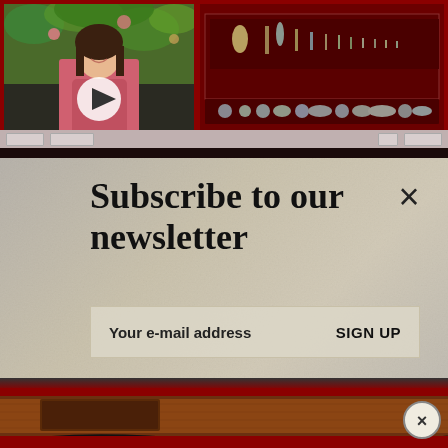[Figure (screenshot): Top section showing a video thumbnail of a person in a pink top with a play button overlay, and a museum display case with artifacts on red background]
[Figure (screenshot): Newsletter subscription overlay with textured stone/parchment background, close X button, title text, and email input with SIGN UP button]
Subscribe to our newsletter
Your e-mail address
SIGN UP
[Figure (photo): Bottom section showing a dark reddish wooden bow or artifact against a dark background with a circular close button]